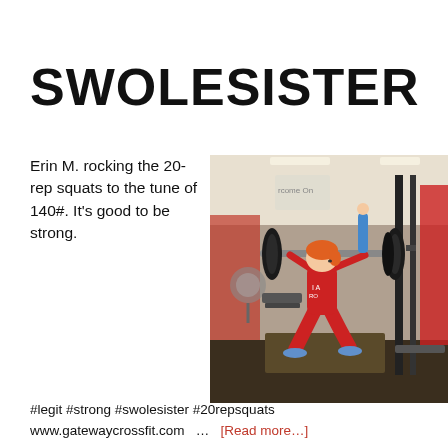SWOLESISTER
Erin M. rocking the 20-rep squats to the tune of 140#. It's good to be strong. #legit #strong #swolesister #20repsquats
[Figure (photo): Woman performing a barbell back squat in a CrossFit gym. She has red/orange hair and wears a red shirt. Heavy barbell with large plates is on her back. Gym equipment including squat racks and a rowing machine visible in background.]
#legit #strong #swolesister #20repsquats
www.gatewaycrossfit.com  …  [Read more…]